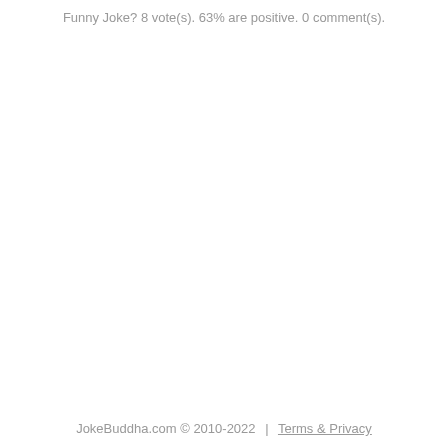Funny Joke? 8 vote(s). 63% are positive. 0 comment(s).
JokeBuddha.com © 2010-2022  |  Terms & Privacy